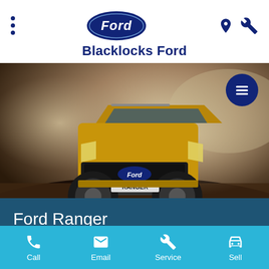[Figure (logo): Ford oval blue logo with 'Ford' script text in white]
Blacklocks Ford
[Figure (photo): Gold/yellow Ford Ranger Next-Generation pickup truck driving on a dusty dirt road, front view with dramatic dust clouds in background]
Ford Ranger
Next-Generation
Call | Email | Service | Sell